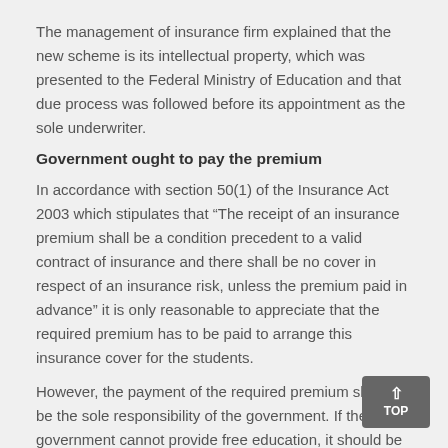The management of insurance firm explained that the new scheme is its intellectual property, which was presented to the Federal Ministry of Education and that due process was followed before its appointment as the sole underwriter.
Government ought to pay the premium
In accordance with section 50(1) of the Insurance Act 2003 which stipulates that “The receipt of an insurance premium shall be a condition precedent to a valid contract of insurance and there shall be no cover in respect of an insurance risk, unless the premium paid in advance” it is only reasonable to appreciate that the required premium has to be paid to arrange this insurance cover for the students.
However, the payment of the required premium should be the sole responsibility of the government. If the government cannot provide free education, it should be able to shoulder this responsibility of premium payment if it is actually concerned with the welfare of students as the people were made to believe.